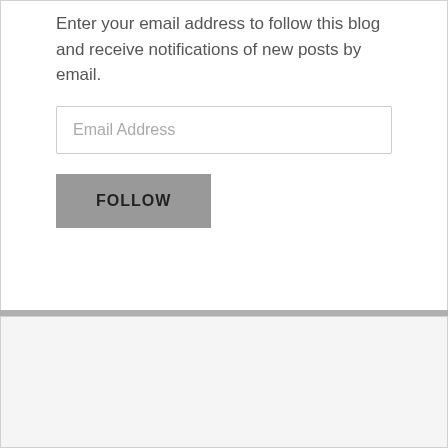Enter your email address to follow this blog and receive notifications of new posts by email.
Email Address
FOLLOW
[Figure (logo): Connie & Mary logo with red cherries and green leaves inside a rounded green border rectangle. Red cursive text reads 'Connie &' and partially 'Mo...']